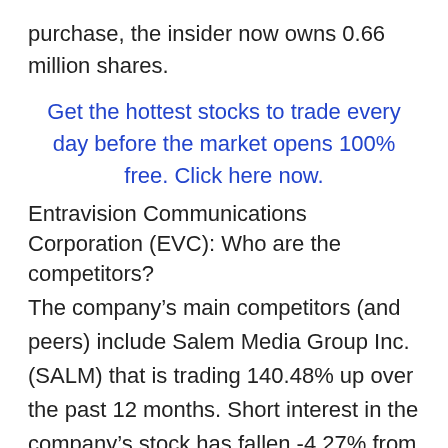purchase, the insider now owns 0.66 million shares.
Get the hottest stocks to trade every day before the market opens 100% free. Click here now.
Entravision Communications Corporation (EVC): Who are the competitors?
The company's main competitors (and peers) include Salem Media Group Inc. (SALM) that is trading 140.48% up over the past 12 months. Short interest in the company's stock has fallen -4.27% from the last report on Apr 14, 2021 to stand at a total of 0.36 million short shares sold